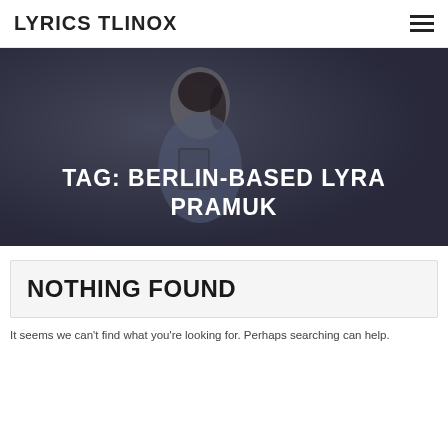LYRICS TLINOX
[Figure (photo): A woman with dark hair in a ponytail, wearing a light blue shirt, looking at a tablet device. Background is dark/blurred. Overlaid with white bold text: TAG: BERLIN-BASED LYRA PRAMUK]
TAG: BERLIN-BASED LYRA PRAMUK
NOTHING FOUND
It seems we can't find what you're looking for. Perhaps searching can help.